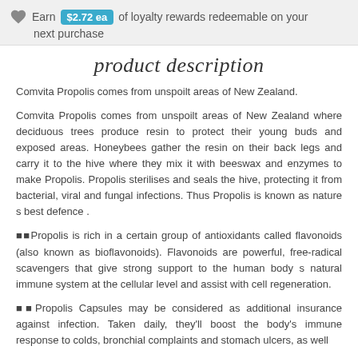Earn $2.72 ea of loyalty rewards redeemable on your next purchase
product description
Comvita Propolis comes from unspoilt areas of New Zealand.
Comvita Propolis comes from unspoilt areas of New Zealand where deciduous trees produce resin to protect their young buds and exposed areas. Honeybees gather the resin on their back legs and carry it to the hive where they mix it with beeswax and enzymes to make Propolis. Propolis sterilises and seals the hive, protecting it from bacterial, viral and fungal infections. Thus Propolis is known as nature s best defence .
??Propolis is rich in a certain group of antioxidants called flavonoids (also known as bioflavonoids). Flavonoids are powerful, free-radical scavengers that give strong support to the human body s natural immune system at the cellular level and assist with cell regeneration.
??Propolis Capsules may be considered as additional insurance against infection. Taken daily, they'll boost the body's immune response to colds, bronchial complaints and stomach ulcers, as well